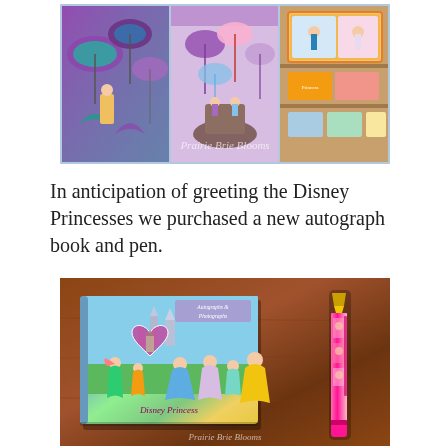[Figure (photo): Three-panel collage of Disney store merchandise photos: left panel shows colorful purple and teal princess umbrellas/fans, center panel shows purple and pink umbrella display with character figurines, right panel shows Disney Princess tin/box merchandise on wooden shelving. Watermark text 'Prairie Brie Blooms' overlaid in white italic.]
In anticipation of greeting the Disney Princesses we purchased a new autograph book and pen.
[Figure (photo): Photo of a Disney Princess autograph and photographs book lying flat on a brown wooden surface, next to a pink Disney Princess ballpoint pen. The book cover shows multiple Disney princesses including Ariel, Cinderella, Rapunzel, Belle, Tiana, and others in front of a castle with a heart motif. The text on the book reads 'Autographs & Photographs' and 'Disney Princess'. The pen is pink with princess character images.]